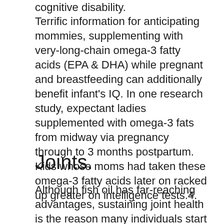cognitive disability.
Terrific information for anticipating mommies, supplementing with very-long-chain omega-3 fatty acids (EPA & DHA) while pregnant and breastfeeding can additionally benefit infant's IQ. In one research study, expectant ladies supplemented with omega-3 fats from midway via pregnancy through to 3 months postpartum. Kids whose moms had taken these omega-3 fatty acids later on racked up greater on intelligence tests.4.
Joints.
Although fish oil has far-reaching advantages, sustaining joint health is the reason many individuals start reaching for this supplement. Individuals who supplement